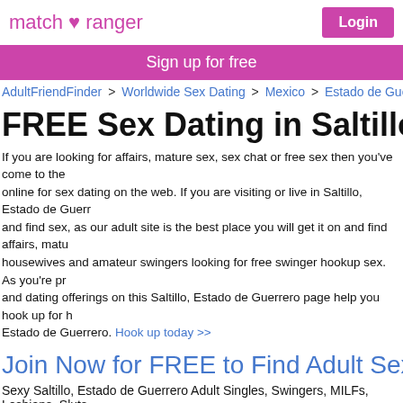match ranger | Login
Sign up for free
AdultFriendFinder > Worldwide Sex Dating > Mexico > Estado de Guerrero > Sa
FREE Sex Dating in Saltillo, Est
If you are looking for affairs, mature sex, sex chat or free sex then you've come to the online for sex dating on the web. If you are visiting or live in Saltillo, Estado de Guerr and find sex, as our adult site is the best place you will get it on and find affairs, matu housewives and amateur swingers looking for free swinger hookup sex. As you're pr and dating offerings on this Saltillo, Estado de Guerrero page help you hook up for h Estado de Guerrero. Hook up today >>
Join Now for FREE to Find Adult Sex Near Sa
Sexy Saltillo, Estado de Guerrero Adult Singles, Swingers, MILFs, Lesbians, Sluts
[Figure (photo): Profile photo of Laideece090]
[Figure (photo): Profile photo of gabby2406]
[Figure (photo): Profile photo of DavidLumsden]